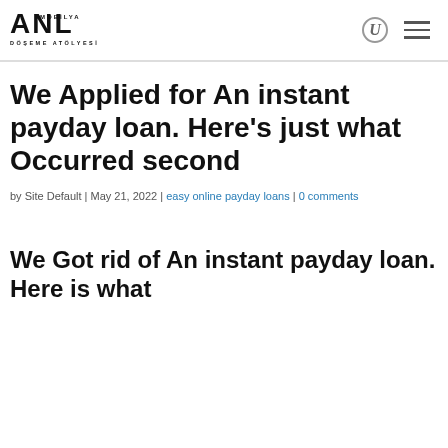ANL MOBİLYA DÖŞEME ATÖLYESİ
We Applied for An instant payday loan. Here's just what Occurred second
by Site Default | May 21, 2022 | easy online payday loans | 0 comments
We Got rid of An instant payday loan. Here is what